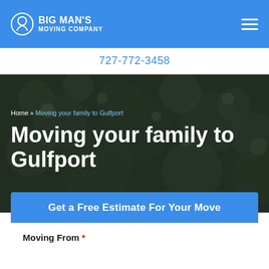BIG MAN'S MOVING COMPANY
727-772-3458
[Figure (photo): Dark bokeh background of trees/foliage used as hero image behind page title]
Home » Moving your family to Gulfport
Moving your family to Gulfport
Get a Free Estimate For Your Move
Moving From *